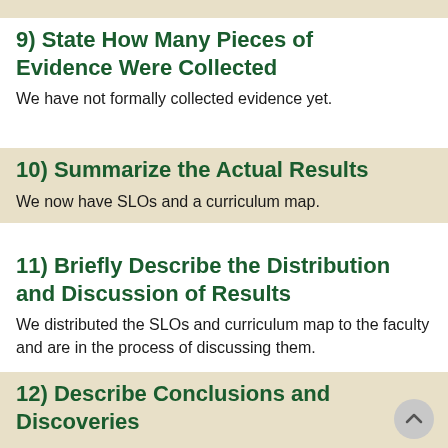9) State How Many Pieces of Evidence Were Collected
We have not formally collected evidence yet.
10) Summarize the Actual Results
We now have SLOs and a curriculum map.
11) Briefly Describe the Distribution and Discussion of Results
We distributed the SLOs and curriculum map to the faculty and are in the process of discussing them.
12) Describe Conclusions and Discoveries